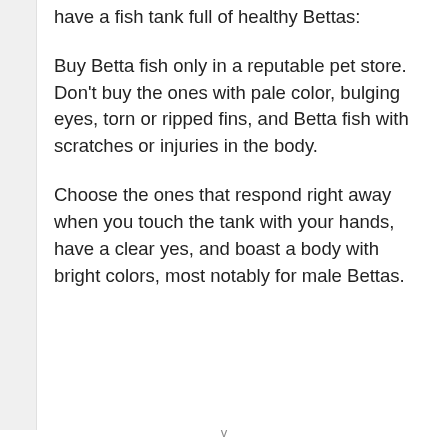have a fish tank full of healthy Bettas:
Buy Betta fish only in a reputable pet store. Don't buy the ones with pale color, bulging eyes, torn or ripped fins, and Betta fish with scratches or injuries in the body.
Choose the ones that respond right away when you touch the tank with your hands, have a clear yes, and boast a body with bright colors, most notably for male Bettas.
v